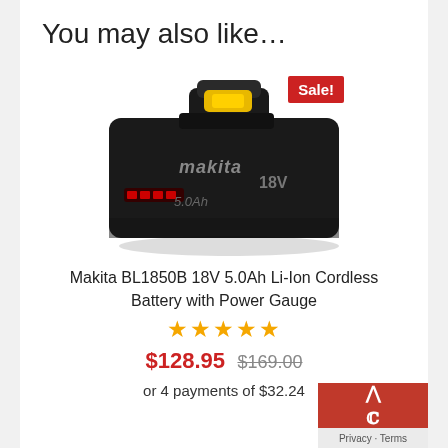You may also like…
[Figure (photo): Makita BL1850B 18V 5.0Ah Li-Ion battery with a Sale! badge in top right corner]
Makita BL1850B 18V 5.0Ah Li-Ion Cordless Battery with Power Gauge
★★★★★
$128.95  $169.00
or 4 payments of $32.24